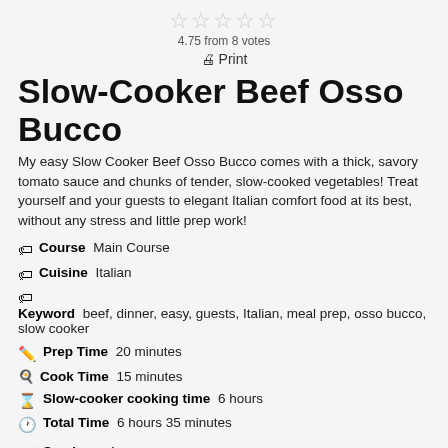[Figure (other): 5 star rating icons (outlined/empty stars)]
4.75 from 8 votes
🖨 Print
Slow-Cooker Beef Osso Bucco
My easy Slow Cooker Beef Osso Bucco comes with a thick, savory tomato sauce and chunks of tender, slow-cooked vegetables! Treat yourself and your guests to elegant Italian comfort food at its best, without any stress and little prep work!
Course Main Course
Cuisine Italian
Keyword beef, dinner, easy, guests, Italian, meal prep, osso bucco, slow cooker
Prep Time 20 minutes
Cook Time 15 minutes
Slow-cooker cooking time 6 hours
Total Time 6 hours 35 minutes
Servings 4
Calories 318 kcal
Ingredients
1 tbsp olive oil
4 pieces beef osso buco also called beef shanks
salt and pepper to taste